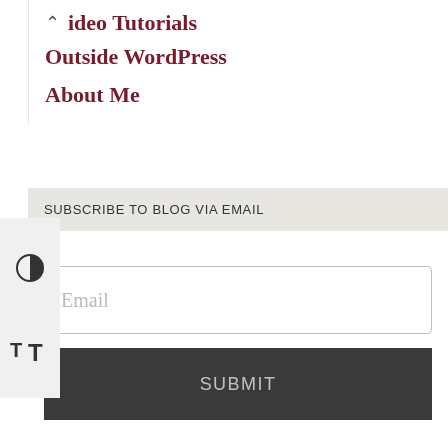Video Tutorials
Outside WordPress
About Me
SUBSCRIBE TO BLOG VIA EMAIL
Email
SUBMIT